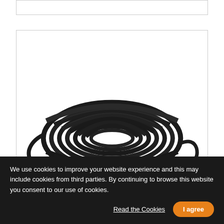[Figure (photo): A coiled bundle of black rubber/plastic cables or hoses, looped and stacked, on a white background. The coil is oval/round shaped and shows multiple overlapping loops.]
We use cookies to improve your website experience and this may include cookies from third parties. By continuing to browse this website you consent to our use of cookies.
Read the Cookies
I agree